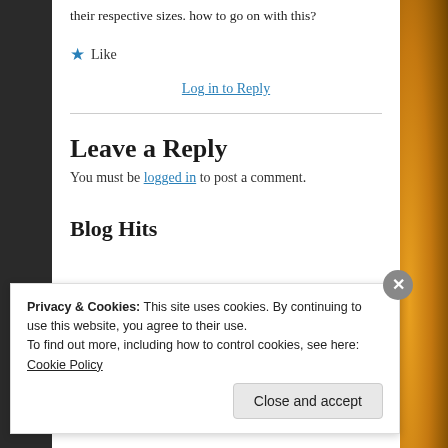their respective sizes. how to go on with this?
★ Like
Log in to Reply
Leave a Reply
You must be logged in to post a comment.
Blog Hits
Privacy & Cookies: This site uses cookies. By continuing to use this website, you agree to their use.
To find out more, including how to control cookies, see here: Cookie Policy
Close and accept